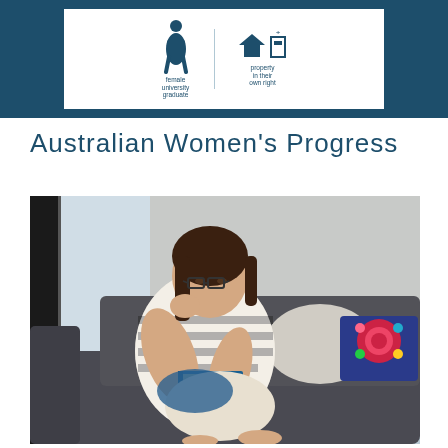[Figure (infographic): Dark teal banner with white infographic box showing female silhouette labeled 'female university graduate' and property/house icons labeled 'property in their own right']
Australian Women's Progress
[Figure (photo): Woman with glasses sitting on a dark grey sofa reading a book, with colorful decorative pillows beside her, in a bright room]